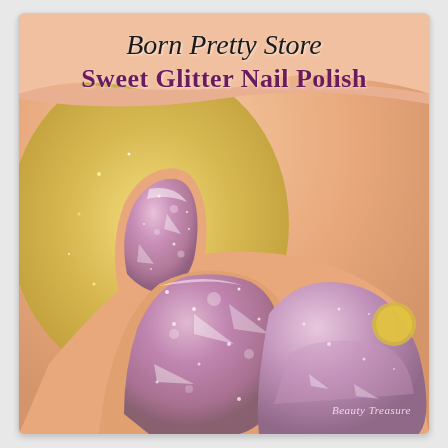[Figure (photo): Close-up photograph of a hand with nails painted in rose-gold/mauve glitter nail polish, next to a nail polish bottle with similar glitter finish. Background shows gold glitter texture.]
Born Pretty Store
Sweet Glitter Nail Polish
Beauty Treasure